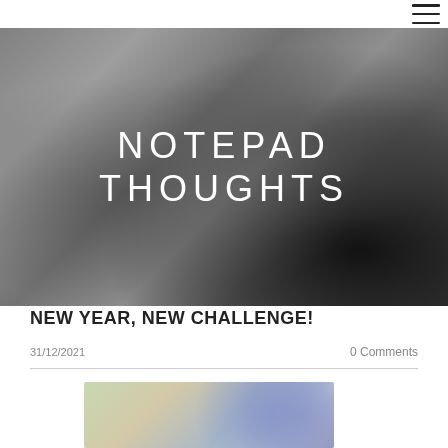≡
[Figure (photo): Black and white photo of a person writing in a notebook with a fountain pen, with handwritten text visible]
NOTEPAD THOUGHTS
NEW YEAR, NEW CHALLENGE!
31/12/2021
0 Comments
[Figure (photo): Partial view of a colorful image at the bottom of the page]